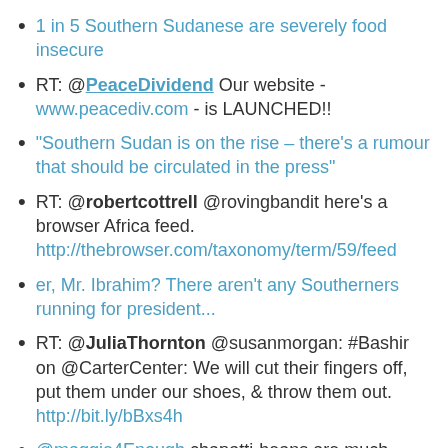1 in 5 Southern Sudanese are severely food insecure
RT: @PeaceDividend Our website - www.peacediv.com - is LAUNCHED!!
"Southern Sudan is on the rise – there's a rumour that should be circulated in the press"
RT: @robertcottrell @rovingbandit here's a browser Africa feed. http://thebrowser.com/taxonomy/term/59/feed
er, Mr. Ibrahim? There aren't any Southerners running for president...
RT: @JuliaThornton @susanmorgan: #Bashir on @CarterCenter: We will cut their fingers off, put them under our shoes, & throw them out. http://bit.ly/bBxs4h
@maggie4Enough chapatti-beans are much better next to de-mining commission behind MoFEP - come for lunch
[Juba] is home to a circus cast of outsiders who